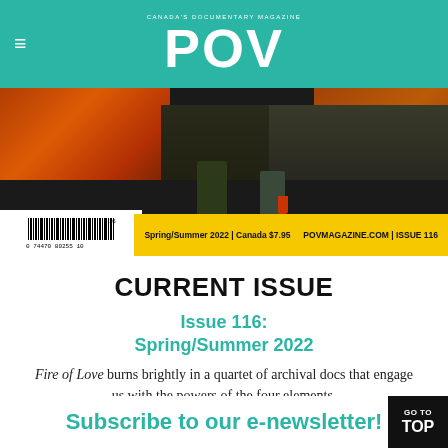CANADA'S DOCUMENTARY MAGAZINE POV
[Figure (photo): Magazine cover for POV Issue 116 Spring/Summer 2022 showing two figures in fireproof gear working on a volcanic landscape with lava and fire, yellow bar at bottom with issue info and barcode]
CURRENT ISSUE
Issue 116: Spring/Summer 2022
Fire of Love burns brightly in a quartet of archival docs that engage us with the powers of the four elements.
Subscribe to our e-newsletter!